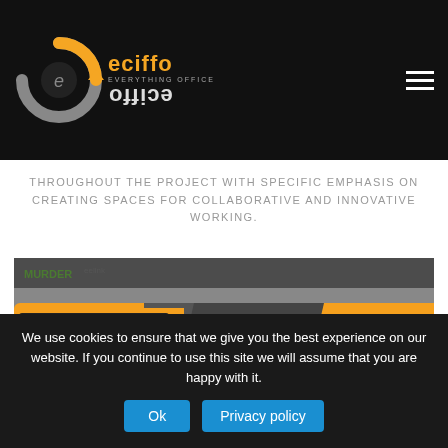eciffo — EVERYTHING OFFICE
THROUGHOUT THE PROJECT WITH SPECIFIC EMPHASIS ON CREATING SPACES FOR COLLABORATIVE AND INNOVATIVE WORKING.
[Figure (photo): An orange and grey branded eciffo delivery van with text: OFFICE SUPPLIES, PRINT SOLUTIONS, OFFICE INTERIORS. Below the van is a logo and text: Oifig um Sholáthar Rialtais / Office of Government Procurement.]
We use cookies to ensure that we give you the best experience on our website. If you continue to use this site we will assume that you are happy with it.